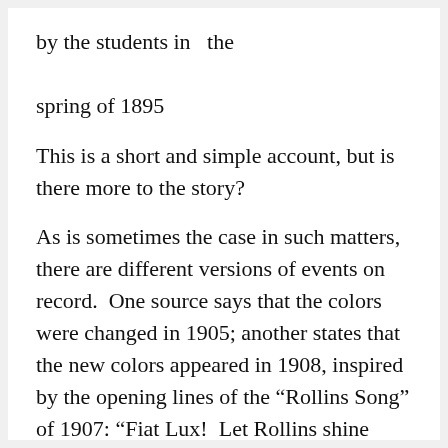by the students in  the spring of 1895
This is a short and simple account, but is there more to the story?
As is sometimes the case in such matters, there are different versions of events on record.  One source says that the colors were changed in 1905; another states that the new colors appeared in 1908, inspired by the opening lines of the “Rollins Song” of 1907: “Fiat Lux!  Let Rollins shine clear in the golden light of day.”
A more detailed account comes from Henry “Hank” Mowbray, class of 1897, the first editor of The Sandspur (and the future donor of Rollins’ Mowbray House).  In an essay written in 1949, “Youthful Days in Florida,” he